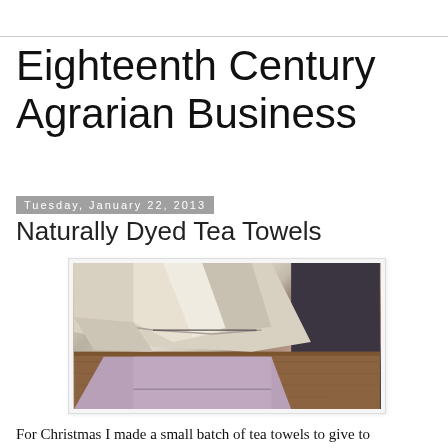Eighteenth Century Agrarian Business
Tuesday, January 22, 2013
Naturally Dyed Tea Towels
[Figure (photo): Close-up photograph of folded tea towels — one natural linen/cream colored and one dusty lavender/mauve colored — draped over a wooden surface with a dark background.]
For Christmas I made a small batch of tea towels to give to